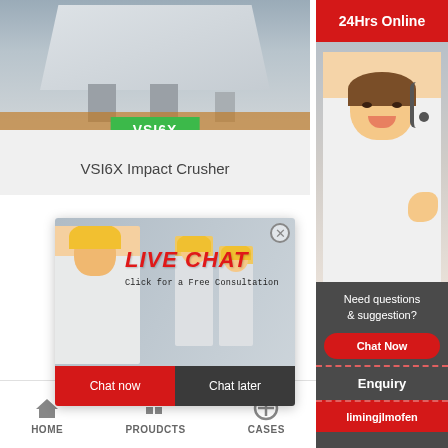[Figure (photo): VSI6X Impact Crusher machine photo with green VSI6X badge label]
VSI6X Impact Crusher
[Figure (screenshot): Live chat popup with workers in hard hats, LIVE CHAT heading, 'Click for a Free Consultation', Chat now and Chat later buttons]
[Figure (photo): Right sidebar with '24Hrs Online' red header, customer service agent with headset photo, 'Need questions & suggestion?' text, Chat Now button, Enquiry section, limingjlmofen label]
HOME   PROUDCTS   CASES